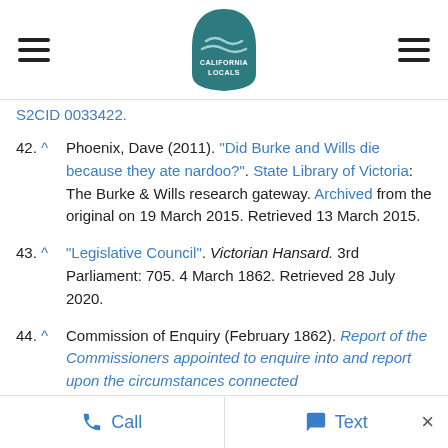California Locals — navigation header with hamburger menus and logo
S2CID 0033422.
42. ^ Phoenix, Dave (2011). "Did Burke and Wills die because they ate nardoo?". State Library of Victoria: The Burke & Wills research gateway. Archived from the original on 19 March 2015. Retrieved 13 March 2015.
43. ^ "Legislative Council". Victorian Hansard. 3rd Parliament: 705. 4 March 1862. Retrieved 28 July 2020.
44. ^ Commission of Enquiry (February 1862). Report of the Commissioners appointed to enquire into and report upon the circumstances connected
Call   Text   ×